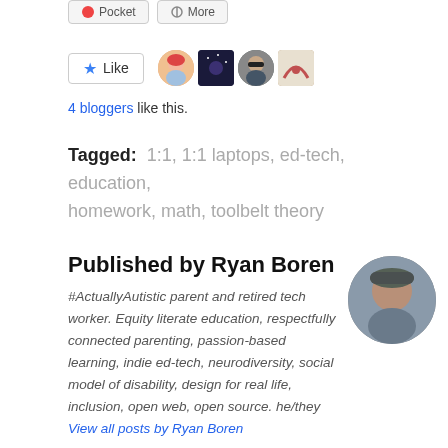[Figure (other): Like button and blogger avatars section showing a star Like button and 4 avatar thumbnails]
4 bloggers like this.
Tagged: 1:1, 1:1 laptops, ed-tech, education, homework, math, toolbelt theory
Published by Ryan Boren
#ActuallyAutistic parent and retired tech worker. Equity literate education, respectfully connected parenting, passion-based learning, indie ed-tech, neurodiversity, social model of disability, design for real life, inclusion, open web, open source. he/they View all posts by Ryan Boren